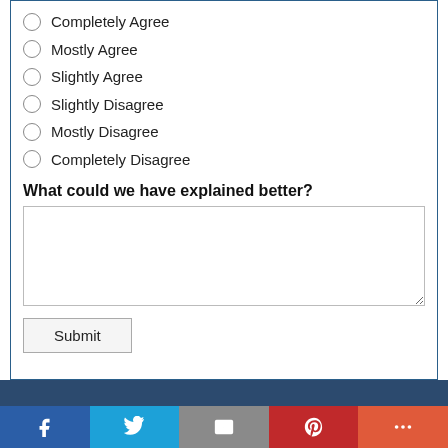Completely Agree
Mostly Agree
Slightly Agree
Slightly Disagree
Mostly Disagree
Completely Disagree
What could we have explained better?
[text area]
Submit
[Figure (other): Social sharing footer bar with Facebook, Twitter, Email, Pinterest, and More buttons]